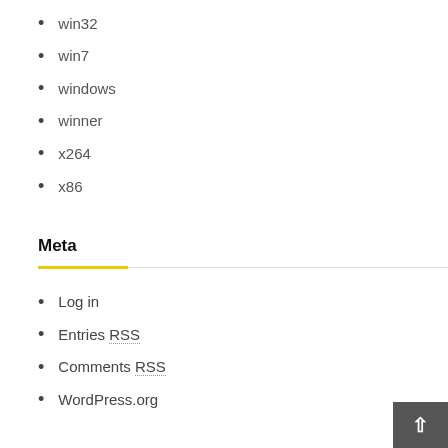win32
win7
windows
winner
x264
x86
Meta
Log in
Entries RSS
Comments RSS
WordPress.org